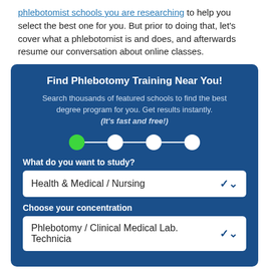phlebotomist schools you are researching to help you select the best one for you. But prior to doing that, let's cover what a phlebotomist is and does, and afterwards resume our conversation about online classes.
[Figure (screenshot): A blue call-to-action box titled 'Find Phlebotomy Training Near You!' with descriptive text, a 4-step progress indicator (first step highlighted green), a 'What do you want to study?' dropdown showing 'Health & Medical / Nursing', and a 'Choose your concentration' dropdown showing 'Phlebotomy / Clinical Medical Lab. Technicia'.]